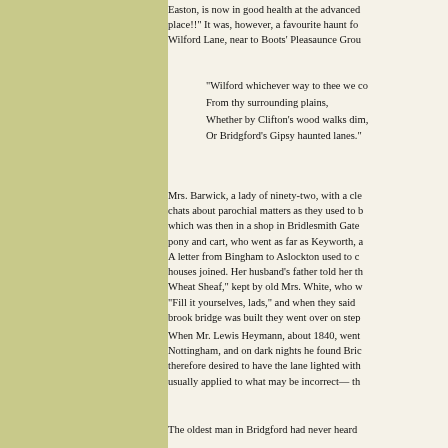Easton, is now in good health at the advanced place!! It was, however, a favourite haunt fo Wilford Lane, near to Boots' Pleasaunce Grou
"Wilford whichever way to thee we co From thy surrounding plains, Whether by Clifton's wood walks dim, Or Bridgford's Gipsy haunted lanes."
Mrs. Barwick, a lady of ninety-two, with a cle chats about parochial matters as they used to b which was then in a shop in Bridlesmith Gate pony and cart, who went as far as Keyworth, a A letter from Bingham to Aslockton used to c houses joined. Her husband's father told her th Wheat Sheaf," kept by old Mrs. White, who w "Fill it yourselves, lads," and when they said brook bridge was built they went over on step
When Mr. Lewis Heymann, about 1840, went Nottingham, and on dark nights he found Brid therefore desired to have the lane lighted with usually applied to what may be incorrect— th
The oldest man in Bridgford had never heard